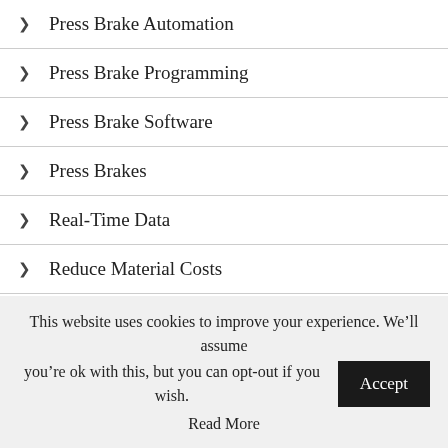Press Brake Automation
Press Brake Programming
Press Brake Software
Press Brakes
Real-Time Data
Reduce Material Costs
Sales and Marketing
Sheet Metal Bending
This website uses cookies to improve your experience. We'll assume you're ok with this, but you can opt-out if you wish. Accept Read More